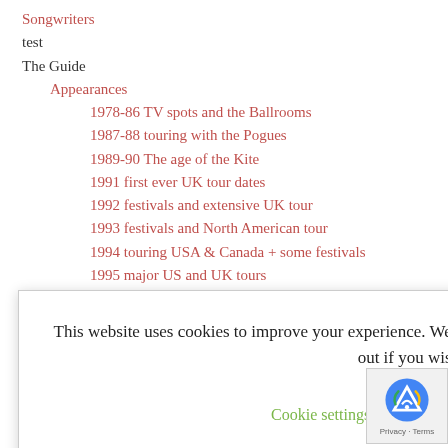Songwriters
test
The Guide
Appearances
1978-86 TV spots and the Ballrooms
1987-88 touring with the Pogues
1989-90 The age of the Kite
1991 first ever UK tour dates
1992 festivals and extensive UK tour
1993 festivals and North American tour
1994 touring USA & Canada + some festivals
1995 major US and UK tours
1997 TV Spot
1998 some benefit gigs
1999 road testing Tropical Brainstorm
2000 major UK tour for Tropical Brainstorm
This website uses cookies to improve your experience. We'll assume you're ok with this, but you can opt-out if you wish.
Strange Facts